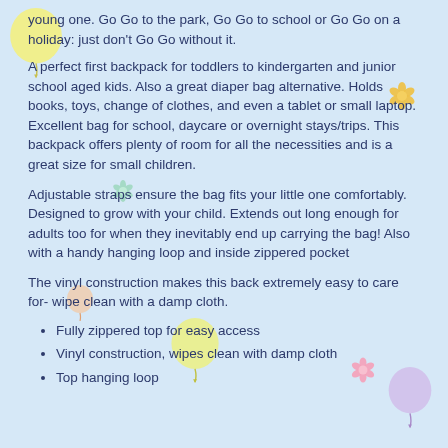young one. Go Go to the park, Go Go to school or Go Go on a holiday: just don't Go Go without it.
A perfect first backpack for toddlers to kindergarten and junior school aged kids. Also a great diaper bag alternative. Holds books, toys, change of clothes, and even a tablet or small laptop. Excellent bag for school, daycare or overnight stays/trips. This backpack offers plenty of room for all the necessities and is a great size for small children.
Adjustable straps ensure the bag fits your little one comfortably. Designed to grow with your child. Extends out long enough for adults too for when they inevitably end up carrying the bag! Also with a handy hanging loop and inside zippered pocket
The vinyl construction makes this back extremely easy to care for- wipe clean with a damp cloth.
Fully zippered top for easy access
Vinyl construction, wipes clean with damp cloth
Top hanging loop